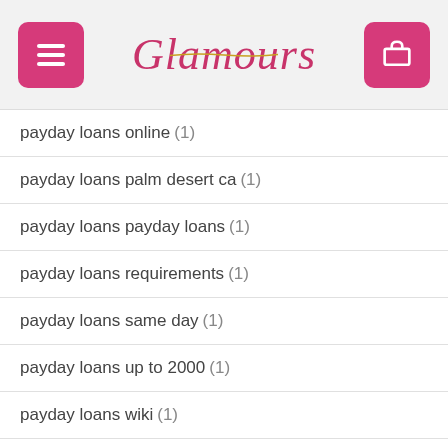Glamours
payday loans online (1)
payday loans palm desert ca (1)
payday loans payday loans (1)
payday loans requirements (1)
payday loans same day (1)
payday loans up to 2000 (1)
payday loans wiki (1)
payday one loans (1)
paydayloan (2)
paydayloan4less.com payday loans near me (1)